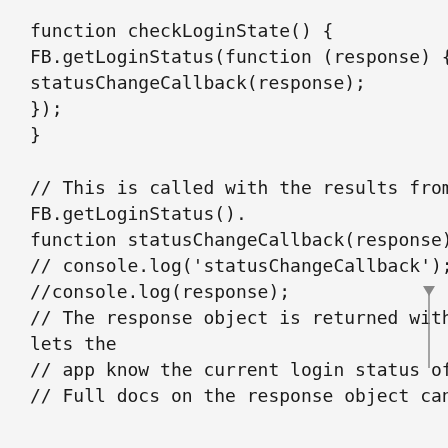function checkLoginState() {
FB.getLoginStatus(function (response) {
statusChangeCallback(response);
});
}

// This is called with the results from from FB.getLoginStatus().
function statusChangeCallback(response) {
// console.log('statusChangeCallback');
//console.log(response);
// The response object is returned with a status field that lets the
// app know the current login status of the person.
// Full docs on the response object can be found in the